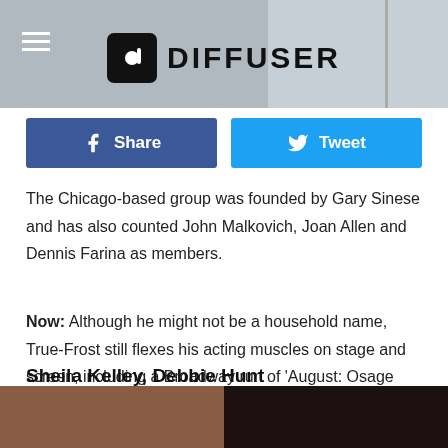DIFFUSER
Share  Tweet
The Chicago-based group was founded by Gary Sinese and has also counted John Malkovich, Joan Allen and Dennis Farina as members.
Now: Although he might not be a household name, True-Frost still flexes his acting muscles on stage and screen, including a Broadway run of 'August: Osage County,' which won the Tony for Best Play, and five seasons playing Detective Pryzbylewski on HBO's 'The Wire.'
Sheila Kelley, Debbie Hunt
[Figure (photo): Two side-by-side photos at the bottom of the page, left is a warm-toned close-up, right is a dark-toned portrait.]